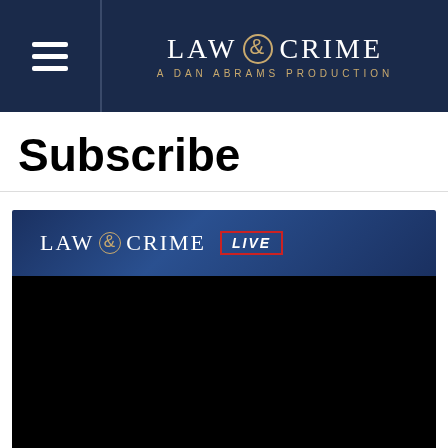LAW & CRIME — A DAN ABRAMS PRODUCTION
Subscribe
[Figure (screenshot): Law & Crime Live stream player with dark navy gradient header showing 'LAW & CRIME LIVE' logo and a black video player area below.]